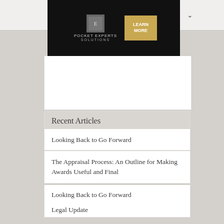Go To...
[Figure (screenshot): Advertisement banner for Pocket Experts Solutions with a Learn More button]
Recent Articles
Looking Back to Go Forward
The Appraisal Process: An Outline for Making Awards Useful and Final
Looking Back to Go Forward
Legal Update
Fraudulent Payment Schemes
Save and Share
[Figure (screenshot): Row of social sharing icons: orange, gray, blue (Facebook), red (YouTube), light blue]